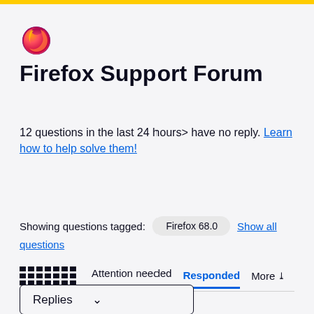[Figure (logo): Firefox browser logo - orange and purple flame circle]
Firefox Support Forum
12 questions in the last 24 hours> have no reply. Learn how to help solve them!
Showing questions tagged: Firefox 68.0 Show all questions
Attention needed  Responded  More
Replies